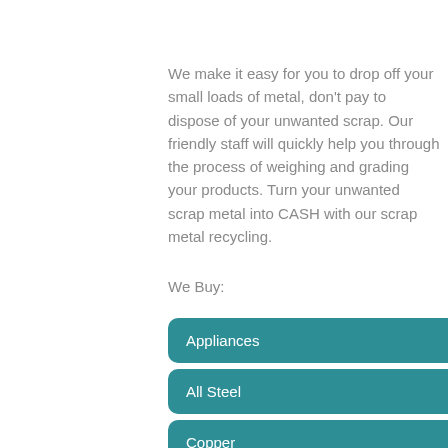We make it easy for you to drop off your small loads of metal, don't pay to dispose of your unwanted scrap. Our friendly staff will quickly help you through the process of weighing and grading your products. Turn your unwanted scrap metal into CASH with our scrap metal recycling.
We Buy:
Appliances
All Steel
Copper